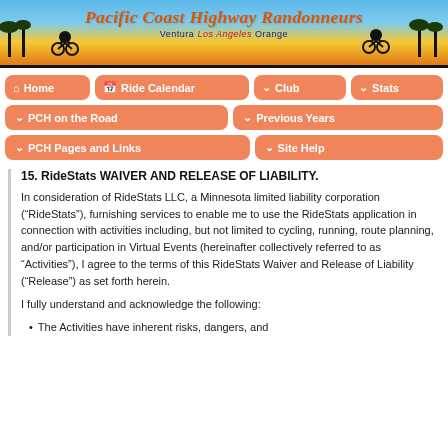[Figure (illustration): Pacific Coast Highway Randonneurs website header banner with cyclists and palm tree silhouettes, sunset gradient background, and title text]
[Figure (screenshot): Navigation menu with orange rounded buttons: Home, Ride Calendar, Club, Stats, PCH on the Road, Previous Years, PCH Pages and Links, Site Help]
15. RideStats WAIVER AND RELEASE OF LIABILITY.
In consideration of RideStats LLC, a Minnesota limited liability corporation (“RideStats”), furnishing services to enable me to use the RideStats application in connection with activities including, but not limited to cycling, running, route planning, and/or participation in Virtual Events (hereinafter collectively referred to as “Activities”), I agree to the terms of this RideStats Waiver and Release of Liability (“Release”) as set forth herein.
I fully understand and acknowledge the following:
The Activities have inherent risks, dangers, and